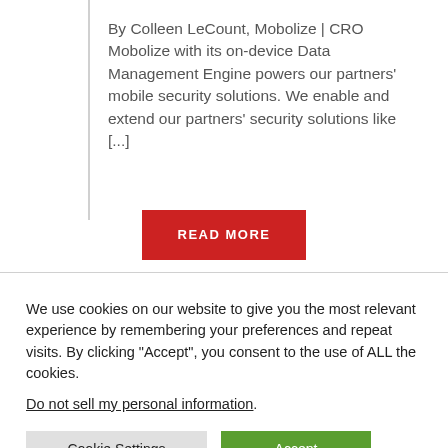By Colleen LeCount, Mobolize | CRO Mobolize with its on-device Data Management Engine powers our partners' mobile security solutions. We enable and extend our partners' security solutions like [...]
READ MORE
We use cookies on our website to give you the most relevant experience by remembering your preferences and repeat visits. By clicking “Accept”, you consent to the use of ALL the cookies.
Do not sell my personal information.
Cookie Settings
Accept